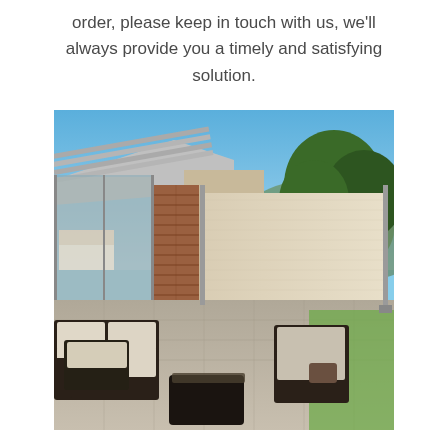order, please keep in touch with us, we'll always provide you a timely and satisfying solution.
[Figure (photo): Outdoor patio with retractable beige/cream side awning screen extended horizontally, blocking view of garden. Dark wicker furniture with cream cushions in foreground, modern house with glass sliding door and brick wall on left, green trees and blue sky in background.]